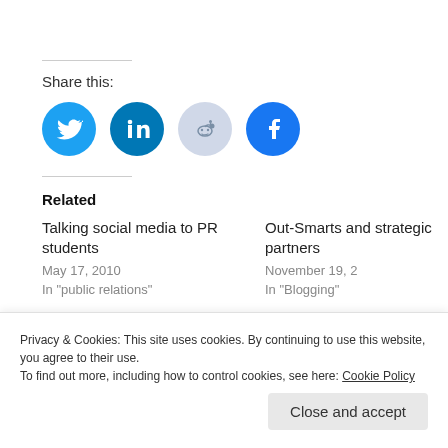Share this:
[Figure (other): Social media sharing icons: Twitter (blue), LinkedIn (dark blue), Reddit (light blue/grey), Facebook (blue)]
Related
Talking social media to PR students
May 17, 2010
In "public relations"
Out-Smarts and strategic partners
November 19, 2...
In "Blogging"
Privacy & Cookies: This site uses cookies. By continuing to use this website, you agree to their use.
To find out more, including how to control cookies, see here: Cookie Policy
Close and accept